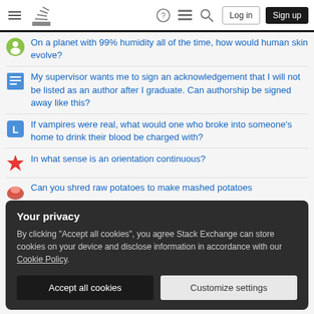Stack Exchange navigation bar with hamburger menu, logo, help, chat, search, Log in, Sign up buttons
On a planet with 99% humidity all of the time, how would human skin evolve?
My supervisor wants me to sign an acknowledgement that I will not be listed as an author after I graduate. Can authorship be signed away like this?
If vampires were real, what would one who broke into someone's home to drink their blood be charged with?
In what sense is an orientation continuous?
Can you shred raw potatoes to make mashed potatoes
Count points per polygon, classify point count in original layer in QGIS
Question feed
Your privacy
By clicking "Accept all cookies", you agree Stack Exchange can store cookies on your device and disclose information in accordance with our Cookie Policy.
Accept all cookies   Customize settings